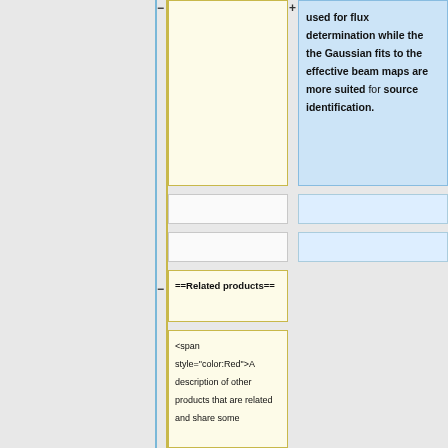+ used for flux determination while the the Gaussian fits to the effective beam maps are more suited for source identification.
==Related products==
<span style="color:Red">A description of other products that are related and share some